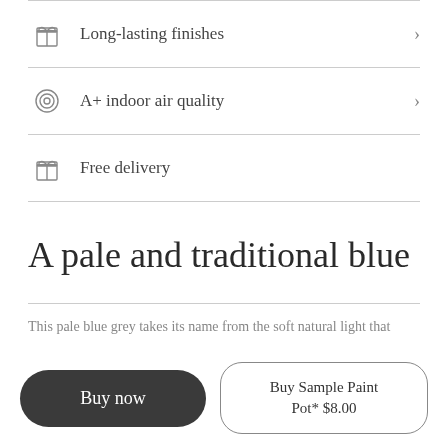Long-lasting finishes >
A+ indoor air quality >
Free delivery
A pale and traditional blue
This pale blue grey takes its name from the soft natural light that
Buy now
Buy Sample Paint Pot* $8.00